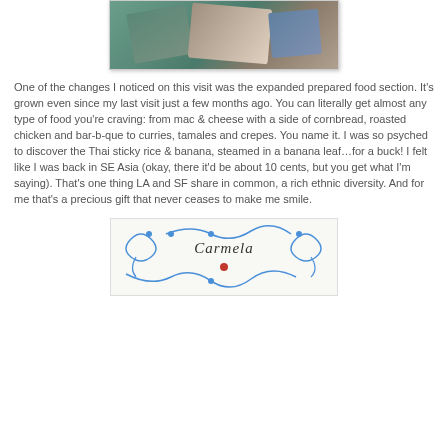[Figure (photo): Partial photo of food or wrapped items on a patterned cloth, cropped at top]
One of the changes I noticed on this visit was the expanded prepared food section. It's grown even since my last visit just a few months ago. You can literally get almost any type of food you're craving: from mac & cheese with a side of cornbread, roasted chicken and bar-b-que to curries, tamales and crepes. You name it. I was so psyched to discover the Thai sticky rice & banana, steamed in a banana leaf…for a buck! I felt like I was back in SE Asia (okay, there it'd be about 10 cents, but you get what I'm saying). That's one thing LA and SF share in common, a rich ethnic diversity. And for me that's a precious gift that never ceases to make me smile.
[Figure (photo): Decorative card or label with blue swirl designs and the name 'Carmela' written in cursive with a red dot below]